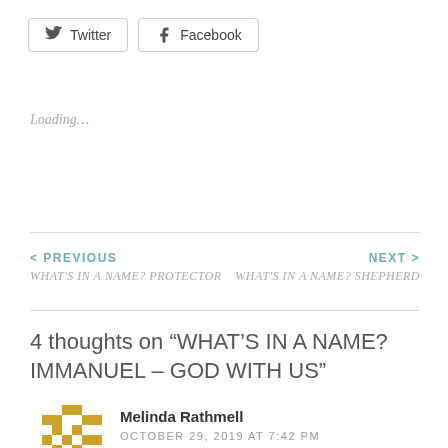[Figure (other): Twitter and Facebook social share buttons]
Loading...
< PREVIOUS
WHAT'S IN A NAME? PROTECTOR
NEXT >
WHAT'S IN A NAME? SHEPHERD
4 thoughts on “WHAT’S IN A NAME? IMMANUEL – GOD WITH US”
[Figure (illustration): Gold pixel cross avatar icon]
Melinda Rathmell
OCTOBER 29, 2019 AT 7:42 PM